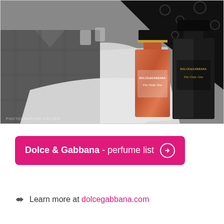[Figure (photo): Black and white fashion advertisement photo showing a man in a plaid suit and a woman in a black lace dress seated at a table with a white tablecloth. Two Dolce & Gabbana 'The Only One' perfume bottles (one amber/orange glass, one black) are displayed in the foreground right. Photographer credit text visible at bottom left.]
Dolce & Gabbana - perfume list ➔
➔ Learn more at dolcegabbana.com